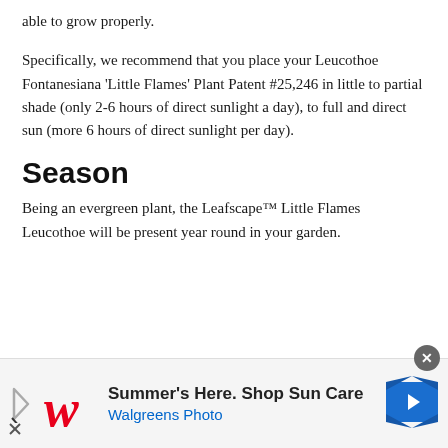able to grow properly.
Specifically, we recommend that you place your Leucothoe Fontanesiana 'Little Flames' Plant Patent #25,246 in little to partial shade (only 2-6 hours of direct sunlight a day), to full and direct sun (more 6 hours of direct sunlight per day).
Season
Being an evergreen plant, the Leafscape™ Little Flames Leucothoe will be present year round in your garden.
[Figure (other): Advertisement banner for Walgreens Photo: 'Summer's Here. Shop Sun Care' with Walgreens logo and navigation arrow icon.]